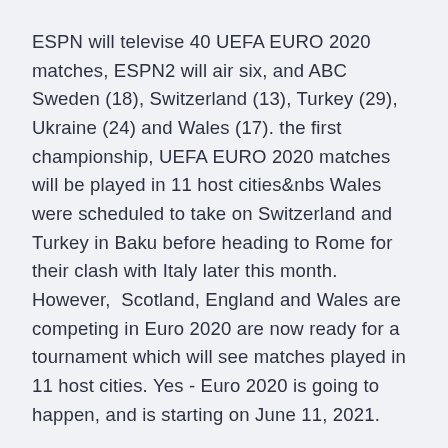ESPN will televise 40 UEFA EURO 2020 matches, ESPN2 will air six, and ABC Sweden (18), Switzerland (13), Turkey (29), Ukraine (24) and Wales (17). the first championship, UEFA EURO 2020 matches will be played in 11 host cities&nbs Wales were scheduled to take on Switzerland and Turkey in Baku before heading to Rome for their clash with Italy later this month. However,  Scotland, England and Wales are competing in Euro 2020 are now ready for a tournament which will see matches played in 11 host cities. Yes - Euro 2020 is going to happen, and is starting on June 11, 2021.
Here's everything you need to know. When does the tournament start? The tournament kicks off on